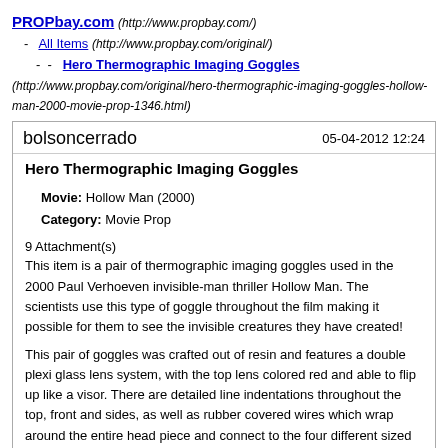PROPbay.com (http://www.propbay.com/) - All Items (http://www.propbay.com/original/) -  -  Hero Thermographic Imaging Goggles (http://www.propbay.com/original/hero-thermographic-imaging-goggles-hollow-man-2000-movie-prop-1346.html)
bolsoncerrado   05-04-2012 12:24
Hero Thermographic Imaging Goggles
Movie: Hollow Man (2000)
Category: Movie Prop
9 Attachment(s)
This item is a pair of thermographic imaging goggles used in the 2000 Paul Verhoeven invisible-man thriller Hollow Man. The scientists use this type of goggle throughout the film making it possible for them to see the invisible creatures they have created!
This pair of goggles was crafted out of resin and features a double plexi glass lens system, with the top lens colored red and able to flip up like a visor. There are detailed line indentations throughout the top, front and sides, as well as rubber covered wires which wrap around the entire head piece and connect to the four different sized optics on the top corners of the goggle frame. There is a small switch, located near the back top left, that is used to power on the lighted goggles and a microswitch that disables the light once